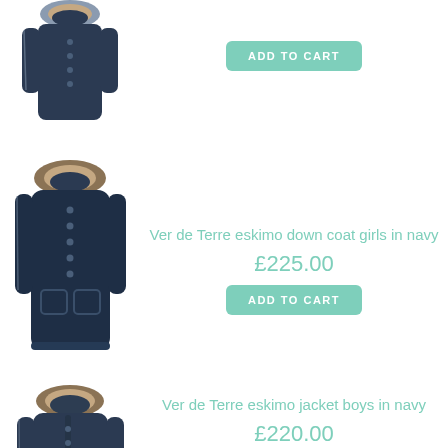[Figure (photo): Partial view of a navy girls coat with fur-trimmed hood, top portion visible]
ADD TO CART
[Figure (photo): Ver de Terre eskimo down coat girls in navy — full-length navy coat with fur-trimmed hood]
Ver de Terre eskimo down coat girls in navy
£225.00
ADD TO CART
[Figure (photo): Ver de Terre eskimo jacket boys in navy — navy jacket with fur-trimmed hood, partial view]
Ver de Terre eskimo jacket boys in navy
£220.00
ADD TO CART